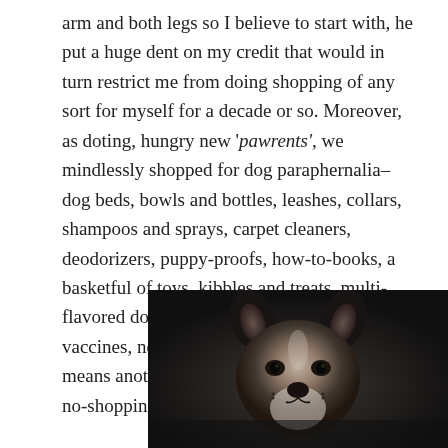arm and both legs so I believe to start with, he put a huge dent on my credit that would in turn restrict me from doing shopping of any sort for myself for a decade or so. Moreover, as doting, hungry new 'pawrents', we mindlessly shopped for dog paraphernalia–dog beds, bowls and bottles, leashes, collars, shampoos and sprays, carpet cleaners, deodorizers, puppy-proofs, how-to-books, a basketful of toys, kibbles and treats, multi-flavored dog food, more toys. Not to mention vaccines, neutering and microchips. That means another 10 years on top of that other no-shopping restriction for a decade.
[Figure (photo): Close-up photo of a black and white cat or dog face looking upward, photographed from below, with ears visible and nose prominent, dark background]